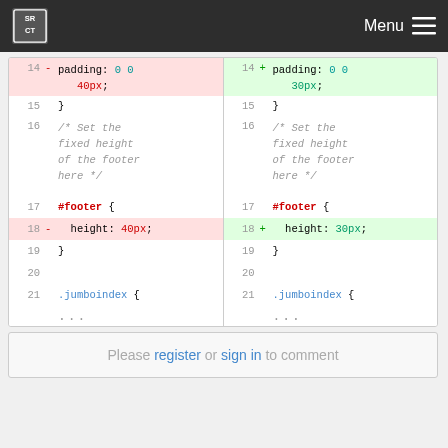SRCT Menu
[Figure (screenshot): Code diff view showing CSS changes. Left side shows removed lines (with - sign, pink background) and right side shows added lines (with + sign, green background). Lines 14-21 visible. Changes replace 40px with 30px for padding and height values. Line 14: padding: 0 0 40px; vs 30px;. Lines 15-16: closing brace and comment. Line 16: /* Set the fixed height of the footer here */. Line 17: #footer {. Line 18: height: 40px; vs 30px;. Line 19: }. Line 20: empty. Line 21: .jumboindex {. Followed by ... ellipsis.]
Please register or sign in to comment